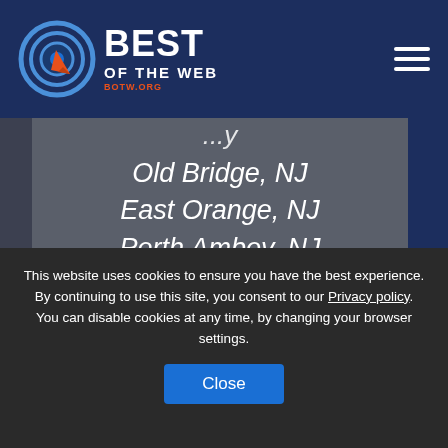[Figure (logo): Best of the Web (BOTW.ORG) logo with circular target icon and navigation hamburger menu on dark blue header]
Old Bridge, NJ
East Orange, NJ
Perth Amboy, NJ
East Brunswick, NJ
West Orange, NJ
Marlboro, NJ
This website uses cookies to ensure you have the best experience. By continuing to use this site, you consent to our Privacy policy. You can disable cookies at any time, by changing your browser settings.
Close